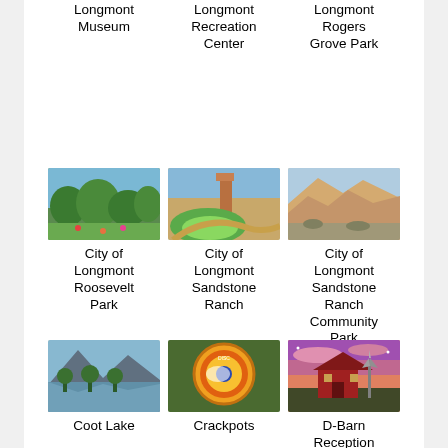Longmont Museum
Longmont Recreation Center
Longmont Rogers Grove Park
[Figure (photo): Park with trees and garden area - Roosevelt Park]
City of Longmont Roosevelt Park
[Figure (photo): Park with circular path and green lawn - Sandstone Ranch]
City of Longmont Sandstone Ranch
[Figure (photo): Sandstone rock formations and scrubland]
City of Longmont Sandstone Ranch Community Park
[Figure (photo): Lake with mountains in background - Coot Lake]
Coot Lake
[Figure (photo): Colorful disc golf disc - Crackpots]
Crackpots
[Figure (photo): Red barn with windmill at sunset - D-Barn Reception Hall]
D-Barn Reception Hall